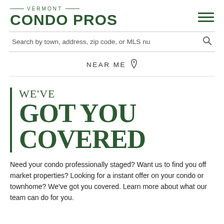VERMONT CONDO PROS
Search by town, address, zip code, or MLS nu
NEAR ME
WE'VE GOT YOU COVERED
Need your condo professionally staged? Want us to find you off market properties? Looking for a instant offer on your condo or townhome? We've got you covered. Learn more about what our team can do for you.